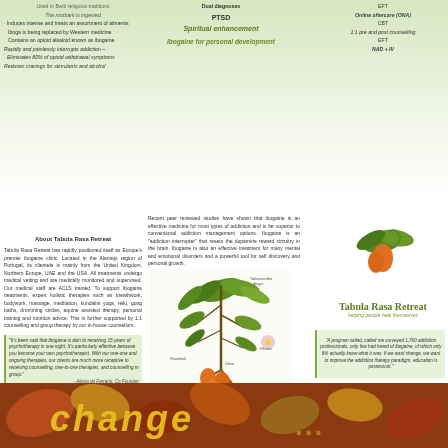Used in Bwiti religious traditions
The rootbark is ingested
· Induces intense and treats an assortment of ailments
Iboga is being replaced by Western medicine
Contains an opioid alkaloid known as ibogaine
Rapidly and painlessly interrupts addiction –
· Eliminates 80% of opioid withdrawal symptoms
Reduces cravings for stimulants and alcohol ·
Dual diagnoses
PTSD
Spiritual enhancement
Ibogaine for personal development
EFT
Online aftercare (ONA)
CBT
1:1 pre and post counselling
EFT
NAD + IV
About Tabula Rasa Retreat
Tabula Rasa Retreat has rapidly positioned itself as Europe's premier ibogaine clinic. Located in the Alentejo region of Portugal, its clientele is mainly from the United Kingdom, Northern Europe, UAE and the USA. All treatments undergo medical vetting and are medically monitored and supervised. Our medical staff are ACLS trained. To support Ibogaine treatments, expert holistic therapies such as breathwork, bodywork, massage, meditation, kundalini yoga, reiki, gong baths, drumming circles, equine assisted therapy, personal training and nutrition advice. This is further supported by 1:1 counselling and group therapy by our in-house counsellors.
"It's been said that ibogaine is akin to receiving 15 years of psychotherapy in one night. It's particularly effective because you become your own psychotherapist. With our one-one and ongoing therapies, our clients are much more receptive to receiving counselling, one-to-one therapies, and counselling in group."
- Alexia de Ferranti, Co Founder
"My time at Tabula Rasa Retreat was a life changing experience, not only because of the multitude of alternative and traditional therapies that were offered to me, but also because of the incredible staff. It's a very special project, the kind that is hard to find these days, with people who are truly clearly and genuinely invested heart and soul in their work."
- Former client
Recent peer reviewed studies have shown that ibogaine is an effective medicine for most types of addiction and is far superior to conventional addiction management options. Ibogaine is an "addiction interrupter" that resets the dopamine reward circuitry in the brain. Ibogaine is also an effective treatment for many mental and emotional disorders and a powerful tool for self discovery and personal growth.
[Figure (illustration): Botanical illustration of Tabernanthe iboga plant showing leaves, stem, roots, orange fruit, and flower with labels]
E: info@tabularasaretreat.com
Tel PT: +351 965 251 048
Tel UK: +44 7480 5 592 20
www.tabularasaretreat.com
[Figure (illustration): Tabula Rasa Retreat logo with leaf and fruit illustration above the name]
Tabula Rasa Retreat
helping people help themselves
"A program called, called me surveyed 1,760 addiction professionals, only few had heard of ibogaine, of which only 6% actually knew what it was. If we want change, we want to improve the addiction therapy paradigm, education is paramount."
[Figure (illustration): Chemical structure diagram of ibogaine molecule]
[Figure (photo): Autumn leaves background in orange, red, yellow and brown tones with the word 'change' overlaid in large italic gold text]